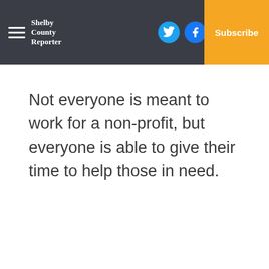Shelby County Reporter — Log In | Subscribe
Not everyone is meant to work for a non-profit, but everyone is able to give their time to help those in need.